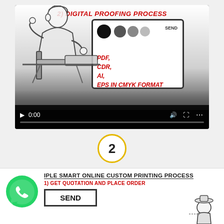[Figure (screenshot): Video player showing '2) DIGITAL PROOFING PROCESS' with an animation of a person at a computer. The monitor displays text: PDF, CDR, AI, EPS IN CMYK FORMAT with color swatches. Video controls show 0:00 and a progress bar.]
[Figure (infographic): Step number 2 inside a yellow circle, indicating the second step in the process.]
[Figure (infographic): WhatsApp icon (green), followed by text 'IPLE SMART ONLINE CUSTOM PRINTING PROCESS' and subtitle '1) GET QUOTATION AND PLACE ORDER' with a SEND box and a cartoon figure.]